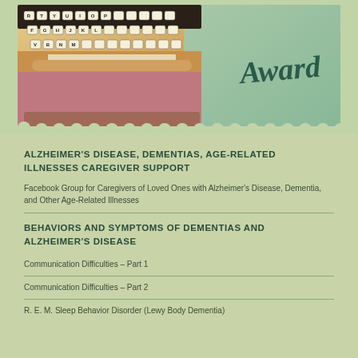[Figure (photo): Photo of a vintage typewriter keyboard with mint green background and cursive 'Award' text overlay, with a decorative scalloped border frame.]
ALZHEIMER'S DISEASE, DEMENTIAS, AGE-RELATED ILLNESSES CAREGIVER SUPPORT
Facebook Group for Caregivers of Loved Ones with Alzheimer's Disease, Dementia, and Other Age-Related Illnesses
BEHAVIORS AND SYMPTOMS OF DEMENTIAS AND ALZHEIMER'S DISEASE
Communication Difficulties – Part 1
Communication Difficulties – Part 2
R. E. M. Sleep Behavior Disorder (Lewy Body Dementia)